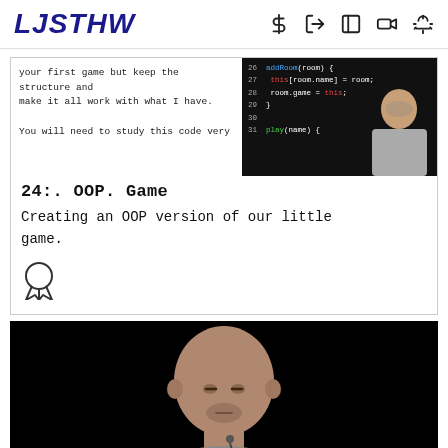LJSTHW
[Figure (screenshot): Course page card: text preview on left showing code exercise instructions, code screenshot on right showing JavaScript OOP code, then title '24:. OOP. Game' and description 'Creating an OOP version of our little game.' with a badge/medal icon]
24:. OOP. Game
Creating an OOP version of our little game.
[Figure (photo): Video thumbnail showing a bald man with a microphone headset against a black background]